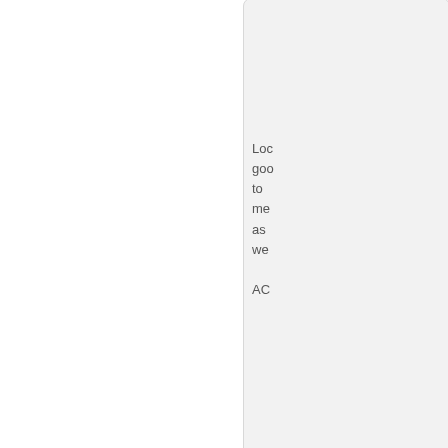Loc
goo
to
me
as
we

AC
[Figure (screenshot): Scroll up button icon (circle with upward triangle)]
[Figure (photo): Forum user avatar showing EX-NATION placeholder image]
Mareadmonte
Spokesperson

Posts: 157
Founded: Jan 22, 2022
Ex-Nation
QUOTE
 by Mareadmonte
» Mon Apr 18, 2022 2:43 pm

Alr
is
any
up